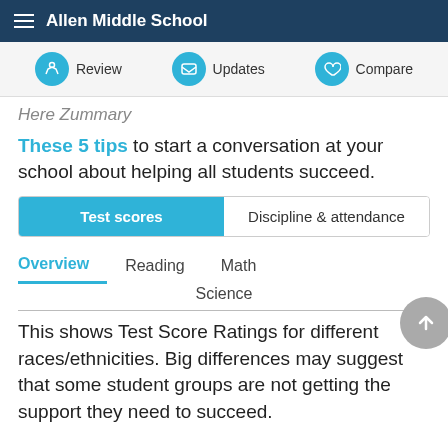Allen Middle School
Review | Updates | Compare
These 5 tips to start a conversation at your school about helping all students succeed.
Test scores | Discipline & attendance
Overview | Reading | Math | Science
This shows Test Score Ratings for different races/ethnicities. Big differences may suggest that some student groups are not getting the support they need to succeed.